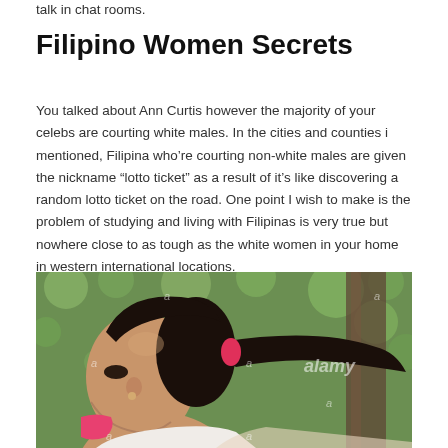talk in chat rooms.
Filipino Women Secrets
You talked about Ann Curtis however the majority of your celebs are courting white males. In the cities and counties i mentioned, Filipina who're courting non-white males are given the nickname “lotto ticket” as a result of it’s like discovering a random lotto ticket on the road. One point I wish to make is the problem of studying and living with Filipinas is very true but nowhere close to as tough as the white women in your home in western international locations.
[Figure (photo): Photograph of a young Filipino woman with dark hair in a ponytail, facing slightly to the side, with green bokeh background. Alamy watermark visible.]